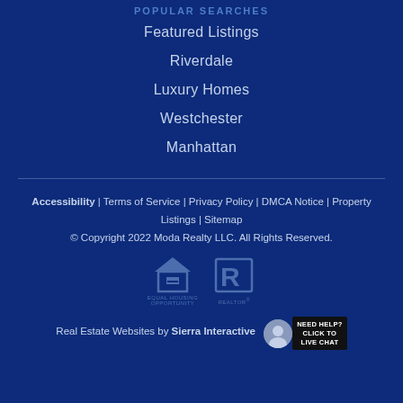POPULAR SEARCHES
Featured Listings
Riverdale
Luxury Homes
Westchester
Manhattan
Accessibility  |  Terms of Service  |  Privacy Policy  |  DMCA Notice  |  Property Listings  |  Sitemap
© Copyright 2022 Moda Realty LLC. All Rights Reserved.
[Figure (logo): Equal Housing Opportunity logo and REALTOR logo side by side]
Real Estate Websites by Sierra Interactive